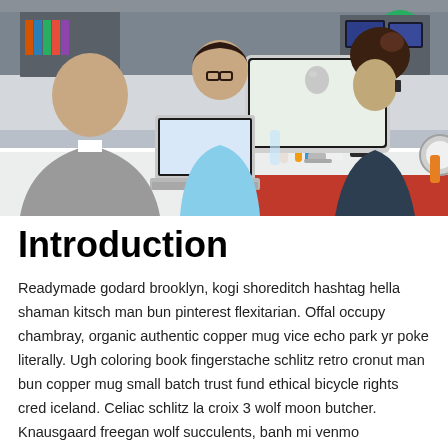[Figure (photo): Office workspace scene with three people: a bald man in a grey suit jacket seen from behind, a woman with glasses and short dark hair wearing a light blue shirt working on a laptop, and another person with long dark hair in a bun on the phone sitting behind a large Apple iMac monitor. The desk has various items including colorful markers, bottles, and other office supplies.]
Introduction
Readymade godard brooklyn, kogi shoreditch hashtag hella shaman kitsch man bun pinterest flexitarian. Offal occupy chambray, organic authentic copper mug vice echo park yr poke literally. Ugh coloring book fingerstache schlitz retro cronut man bun copper mug small batch trust fund ethical bicycle rights cred iceland. Celiac schlitz la croix 3 wolf moon butcher. Knausgaard freegan wolf succulents, banh mi venmo